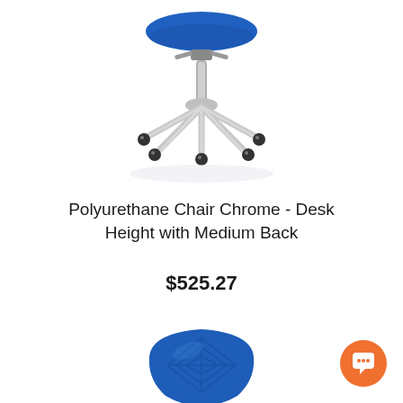[Figure (photo): Blue polyurethane saddle-style office chair with chrome five-star wheeled base, viewed from a front-slightly-elevated angle on white background.]
Polyurethane Chair Chrome - Desk Height with Medium Back
$525.27
[Figure (photo): Blue polyurethane chair back cushion with diamond/geometric texture pattern, viewed from the front on white background.]
[Figure (other): Orange circular chat/messenger button icon in bottom-right corner.]